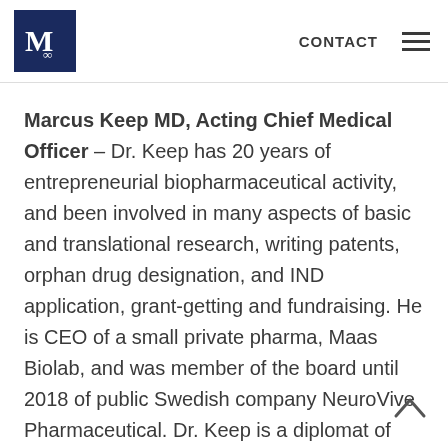CONTACT [hamburger menu]
Marcus Keep MD, Acting Chief Medical Officer – Dr. Keep has 20 years of entrepreneurial biopharmaceutical activity, and been involved in many aspects of basic and translational research, writing patents, orphan drug designation, and IND application, grant-getting and fundraising. He is CEO of a small private pharma, Maas Biolab, and was member of the board until 2018 of public Swedish company NeuroVive Pharmaceutical. Dr. Keep is a diplomat of the American Board of Neurological Surgery, and